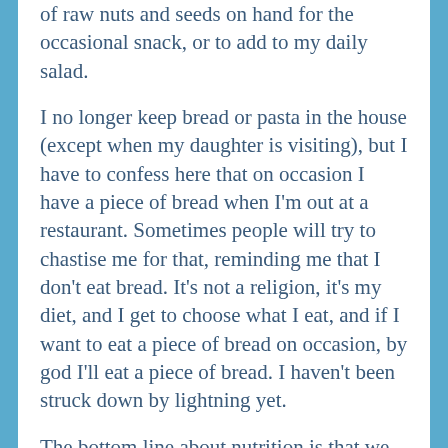of raw nuts and seeds on hand for the occasional snack, or to add to my daily salad.
I no longer keep bread or pasta in the house (except when my daughter is visiting), but I have to confess here that on occasion I have a piece of bread when I'm out at a restaurant.  Sometimes people will try to chastise me for that, reminding me that I don't eat bread.  It's not a religion, it's my diet, and I get to choose what I eat, and if I want to eat a piece of bread on occasion, by god I'll eat a piece of bread.  I haven't been struck down by lightning yet.
The bottom line about nutrition is that we are all different, and what works for one person will not work for another.  There are no co0kie cutter solutions that will work for everyone, or short cuts, or magic pills.  There are some